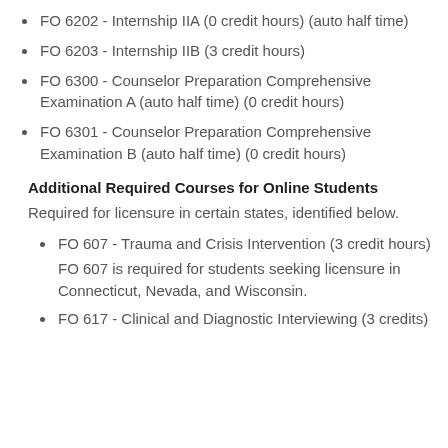FO 6202 - Internship IIA (0 credit hours) (auto half time)
FO 6203 - Internship IIB (3 credit hours)
FO 6300 - Counselor Preparation Comprehensive Examination A (auto half time) (0 credit hours)
FO 6301 - Counselor Preparation Comprehensive Examination B (auto half time) (0 credit hours)
Additional Required Courses for Online Students
Required for licensure in certain states, identified below.
FO 607 - Trauma and Crisis Intervention (3 credit hours)
FO 607 is required for students seeking licensure in Connecticut, Nevada, and Wisconsin.
FO 617 - Clinical and Diagnostic Interviewing (3 credits)